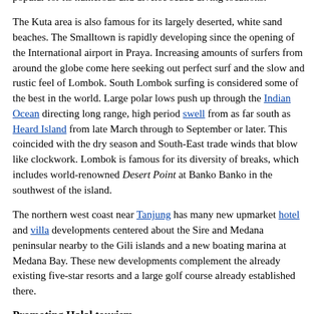Lawang, Narmada Park and Mayura Park and Kuta (distinctly different from Kuta, Bali).[38] Sekotong, in southwest Lombok, is popular for its numerous and diverse scuba diving locations.
The Kuta area is also famous for its largely deserted, white sand beaches. The Smalltown is rapidly developing since the opening of the International airport in Praya. Increasing amounts of surfers from around the globe come here seeking out perfect surf and the slow and rustic feel of Lombok. South Lombok surfing is considered some of the best in the world. Large polar lows push up through the Indian Ocean directing long range, high period swell from as far south as Heard Island from late March through to September or later. This coincided with the dry season and South-East trade winds that blow like clockwork. Lombok is famous for its diversity of breaks, which includes world-renowned Desert Point at Banko Banko in the southwest of the island.
The northern west coast near Tanjung has many new upmarket hotel and villa developments centered about the Sire and Medana peninsular nearby to the Gili islands and a new boating marina at Medana Bay. These new developments complement the already existing five-star resorts and a large golf course already established there.
Promoting Halal tourism